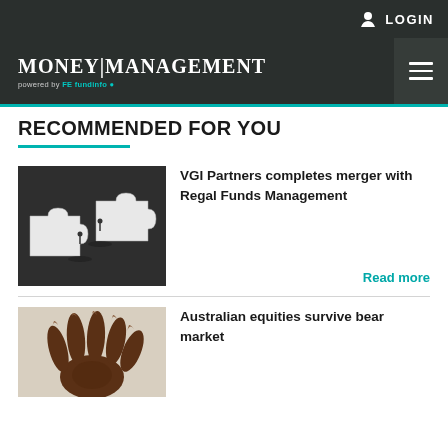LOGIN
MONEY|MANAGEMENT powered by FE fundinfo
RECOMMENDED FOR YOU
[Figure (photo): Two white puzzle pieces on a dark background with small figurines of people standing at the gap between them]
VGI Partners completes merger with Regal Funds Management
Read more
[Figure (photo): A dark brown bear paw or claw raised up against a light background]
Australian equities survive bear market